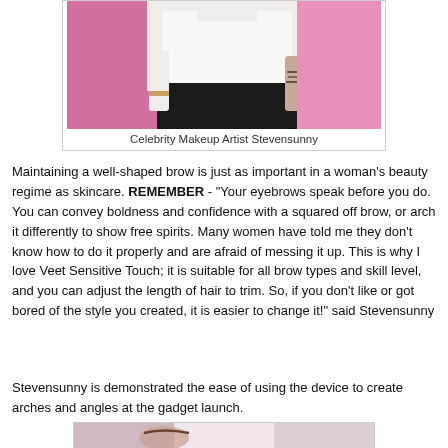[Figure (photo): Photo of Celebrity Makeup Artist Stevensunny standing in front of a pink backdrop, wearing a white long-sleeve top and black pants with visible tattoos on the arm.]
Celebrity Makeup Artist Stevensunny
Maintaining a well-shaped brow is just as important in a woman's beauty regime as skincare. REMEMBER - “Your eyebrows speak before you do. You can convey boldness and confidence with a squared off brow, or arch it differently to show free spirits. Many women have told me they don’t know how to do it properly and are afraid of messing it up. This is why I love Veet Sensitive Touch; it is suitable for all brow types and skill level, and you can adjust the length of hair to trim. So, if you don’t like or got bored of the style you created, it is easier to change it!” said Stevensunny
Stevensunny is demonstrated the ease of using the device to create arches and angles at the gadget launch.
[Figure (photo): Partial photo visible at bottom of page showing a close-up of a person's face/eyebrow area.]